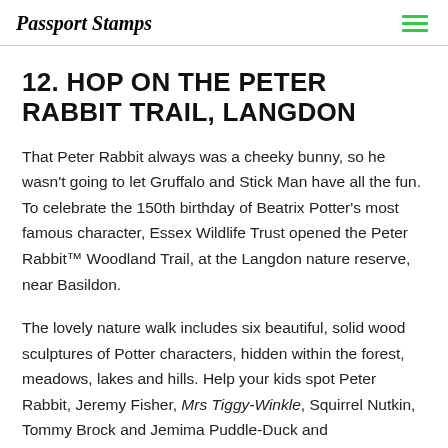Passport Stamps
12. HOP ON THE PETER RABBIT TRAIL, LANGDON
That Peter Rabbit always was a cheeky bunny, so he wasn't going to let Gruffalo and Stick Man have all the fun. To celebrate the 150th birthday of Beatrix Potter's most famous character, Essex Wildlife Trust opened the Peter Rabbit™ Woodland Trail, at the Langdon nature reserve, near Basildon.
The lovely nature walk includes six beautiful, solid wood sculptures of Potter characters, hidden within the forest, meadows, lakes and hills. Help your kids spot Peter Rabbit, Jeremy Fisher, Mrs Tiggy-Winkle, Squirrel Nutkin, Tommy Brock and Jemima Puddle-Duck and